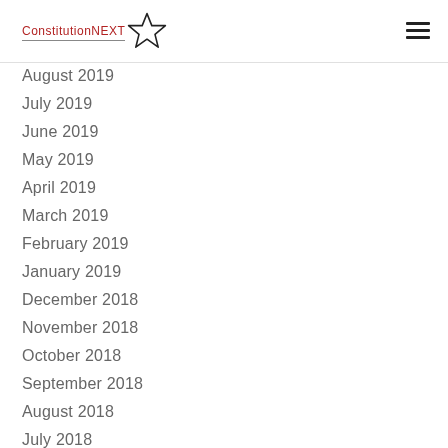ConstitutionNEXT
August 2019
July 2019
June 2019
May 2019
April 2019
March 2019
February 2019
January 2019
December 2018
November 2018
October 2018
September 2018
August 2018
July 2018
June 2018